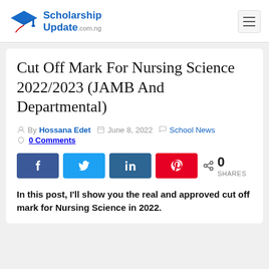[Figure (logo): ScholarshipUpdate.com.ng logo with graduation cap icon in blue and red]
Cut Off Mark For Nursing Science 2022/2023 (JAMB And Departmental)
By Hossana Edet   June 8, 2022   School News   0 Comments
[Figure (infographic): Social share buttons: Facebook, Twitter, LinkedIn, Pinterest. Share count: 0 SHARES]
In this post, I'll show you the real and approved cut off mark for Nursing Science in 2022.